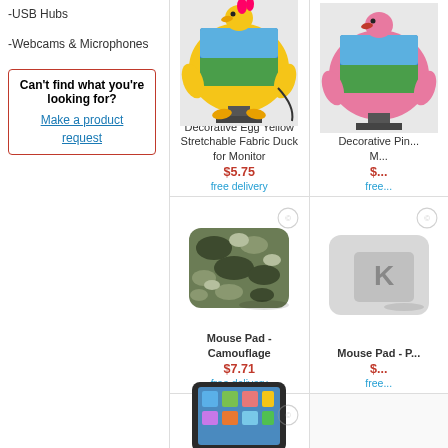-USB Hubs
-Webcams & Microphones
Can't find what you're looking for?
Make a product request
[Figure (photo): Decorative Egg Yellow Stretchable Fabric Duck for Monitor product photo]
Decorative Egg Yellow Stretchable Fabric Duck for Monitor
$5.75
free delivery
[Figure (photo): Decorative Pink product photo (partially visible)]
Decorative Pin... Mo...
$...
free...
[Figure (photo): Mouse Pad - Camouflage product photo]
Mouse Pad - Camouflage
$7.71
free delivery
[Figure (photo): Mouse Pad - P... product photo (partially visible)]
Mouse Pad - P...
$...
free...
[Figure (photo): Tablet/iPad product photo (partially visible at bottom)]